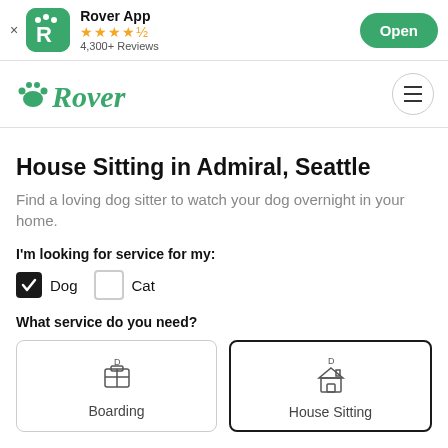Rover App · 4,300+ Reviews · Open
[Figure (logo): Rover green logo with paw print and hamburger menu]
House Sitting in Admiral, Seattle
Find a loving dog sitter to watch your dog overnight in your home.
I'm looking for service for my:
Dog (checked), Cat (unchecked)
What service do you need?
Boarding
House Sitting (selected)